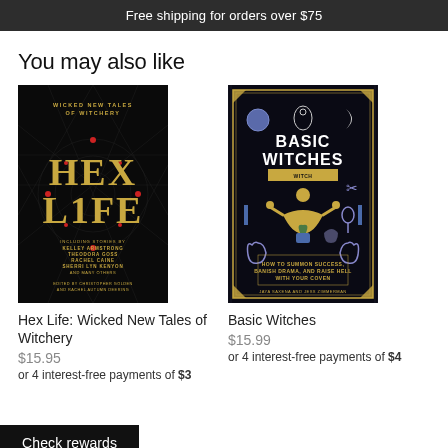Free shipping for orders over $75
You may also like
[Figure (photo): Book cover of Hex Life: Wicked New Tales of Witchery — dark background with gold geometric star patterns and red accents, large gold lettering HEX LIFE]
[Figure (photo): Book cover of Basic Witches — dark background with blue and gold illustrations of a woman meditating, witchcraft symbols, scissors, mirror, crystals, and moon]
Hex Life: Wicked New Tales of Witchery
$15.95
or 4 interest-free payments of $3
Basic Witches
$15.99
or 4 interest-free payments of $4
Check rewards